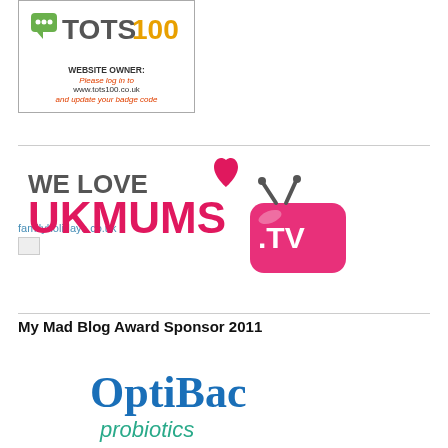[Figure (logo): Tots100 badge showing website owner login prompt with text: WEBSITE OWNER: Please log in to www.tots100.co.uk and update your badge code]
familyholidays.co.uk
[Figure (logo): WE LOVE UKMums.TV logo — grey 'WE LOVE' text with a pink heart, then 'UKMUMS' in bold pink/magenta and '.TV' on a pink TV screen graphic]
My Mad Blog Award Sponsor 2011
[Figure (logo): OptiBac probiotics logo — blue 'OptiBac' text above teal 'probiotics' text]